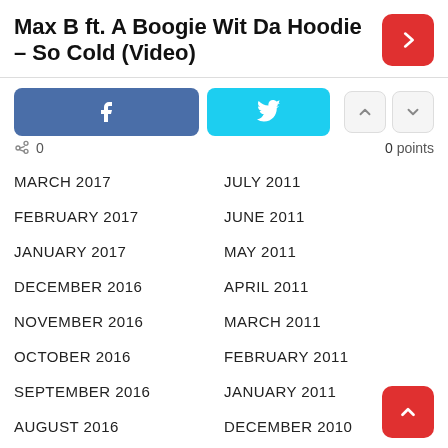Max B ft. A Boogie Wit Da Hoodie – So Cold (Video)
[Figure (infographic): Social share buttons: Facebook (blue), Twitter (cyan), upvote and downvote arrow buttons (grey). Share count: 0. Points: 0.]
MARCH 2017
JULY 2011
FEBRUARY 2017
JUNE 2011
JANUARY 2017
MAY 2011
DECEMBER 2016
APRIL 2011
NOVEMBER 2016
MARCH 2011
OCTOBER 2016
FEBRUARY 2011
SEPTEMBER 2016
JANUARY 2011
AUGUST 2016
DECEMBER 2010
JULY 2016
NOVEMBER 2010